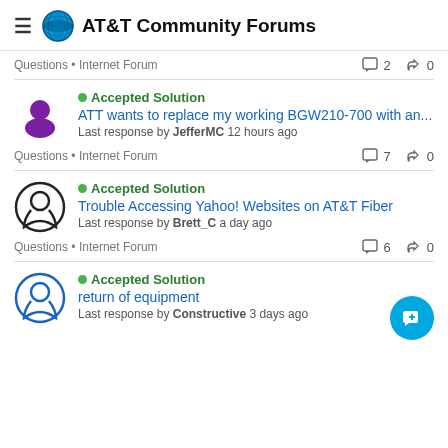AT&T Community Forums
Questions • Internet Forum | 2 comments | 0 likes
Accepted Solution
ATT wants to replace my working BGW210-700 with an...
Last response by JefferMC 12 hours ago
Questions • Internet Forum | 7 comments | 0 likes
Accepted Solution
Trouble Accessing Yahoo! Websites on AT&T Fiber
Last response by Brett_C a day ago
Questions • Internet Forum | 6 comments | 0 likes
Accepted Solution
return of equipment
Last response by Constructive 3 days ago